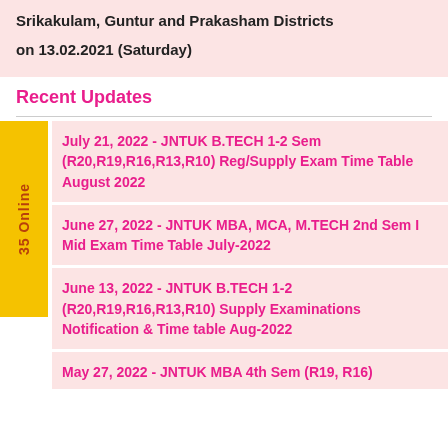on 13.02.2021 (Saturday)
Recent Updates
July 21, 2022 - JNTUK B.TECH 1-2 Sem (R20,R19,R16,R13,R10) Reg/Supply Exam Time Table August 2022
June 27, 2022 - JNTUK MBA, MCA, M.TECH 2nd Sem I Mid Exam Time Table July-2022
June 13, 2022 - JNTUK B.TECH 1-2 (R20,R19,R16,R13,R10) Supply Examinations Notification & Time table Aug-2022
May 27, 2022 - JNTUK MBA 4th Sem (R19, R16)